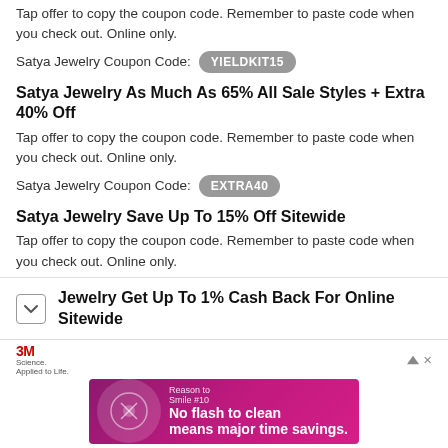Tap offer to copy the coupon code. Remember to paste code when you check out. Online only.
Satya Jewelry Coupon Code: YIELDKIT15
Satya Jewelry As Much As 65% All Sale Styles + Extra 40% Off
Tap offer to copy the coupon code. Remember to paste code when you check out. Online only.
Satya Jewelry Coupon Code: EXTRA40
Satya Jewelry Save Up To 15% Off Sitewide
Tap offer to copy the coupon code. Remember to paste code when you check out. Online only.
Satya Jewelry Coupon Code: WILDFIRE15
Jewelry Get Up To 1% Cash Back For Online Sitewide
[Figure (illustration): 3M advertisement banner: No flash to clean means major time savings. Purple/pink background with circular dental illustration.]